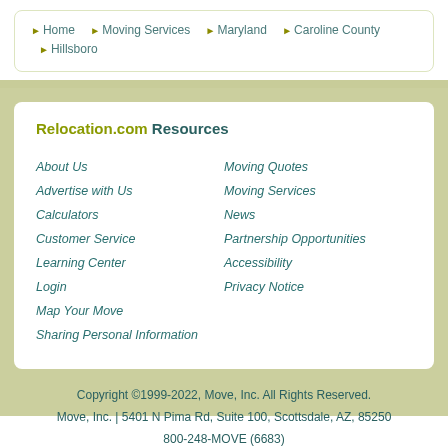Home > Moving Services > Maryland > Caroline County > Hillsboro
Relocation.com Resources
About Us
Advertise with Us
Calculators
Customer Service
Learning Center
Login
Map Your Move
Sharing Personal Information
Moving Quotes
Moving Services
News
Partnership Opportunities
Accessibility
Privacy Notice
Copyright ©1999-2022, Move, Inc. All Rights Reserved. Move, Inc. | 5401 N Pima Rd, Suite 100, Scottsdale, AZ, 85250 800-248-MOVE (6683)